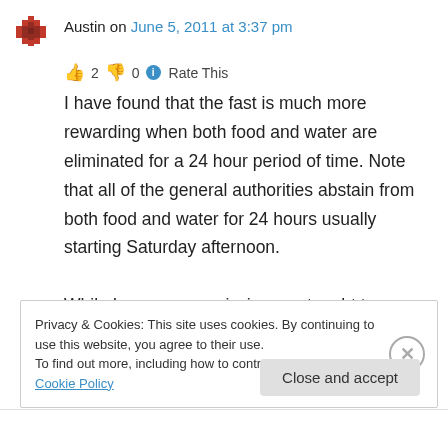Austin on June 5, 2011 at 3:37 pm
👍 2 👎 0 ℹ Rate This
I have found that the fast is much more rewarding when both food and water are eliminated for a 24 hour period of time. Note that all of the general authorities abstain from both food and water for 24 hours usually starting Saturday afternoon.

While I was on my mission, we taught to abstain
Privacy & Cookies: This site uses cookies. By continuing to use this website, you agree to their use.
To find out more, including how to control cookies, see here: Cookie Policy
Close and accept